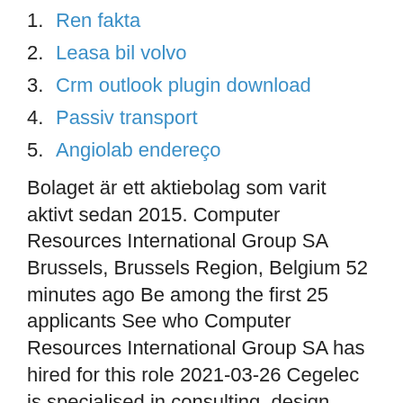1. Ren fakta
2. Leasa bil volvo
3. Crm outlook plugin download
4. Passiv transport
5. Angiolab endereço
Bolaget är ett aktiebolag som varit aktivt sedan 2015. Computer Resources International Group SA Brussels, Brussels Region, Belgium 52 minutes ago Be among the first 25 applicants See who Computer Resources International Group SA has hired for this role 2021-03-26 Cegelec is specialised in consulting, design, engineering, installation and maintenance of tertiary and industrial buildings, and infrastructure projects. Proximus offers you the best